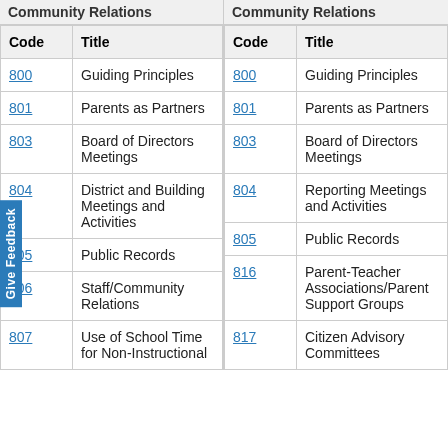Community Relations | Community Relations
| Code | Title |
| --- | --- |
| 800 | Guiding Principles |
| 801 | Parents as Partners |
| 803 | Board of Directors Meetings |
| 804 | District and Building Meetings and Activities |
| 805 | Public Records |
| 806 | Staff/Community Relations |
| 807 | Use of School Time for Non-Instructional |
| Code | Title |
| --- | --- |
| 800 | Guiding Principles |
| 801 | Parents as Partners |
| 803 | Board of Directors Meetings |
| 804 | Reporting Meetings and Activities |
| 805 | Public Records |
| 816 | Parent-Teacher Associations/Parent Support Groups |
| 817 | Citizen Advisory Committees |